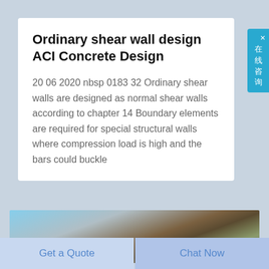Ordinary shear wall design ACI Concrete Design
20 06 2020 nbsp 0183 32 Ordinary shear walls are designed as normal shear walls according to chapter 14 Boundary elements are required for special structural walls where compression load is high and the bars could buckle
[Figure (photo): Photograph of construction equipment (excavator/crane) at a construction site with mountains in the background and a red object visible on the right.]
Get a Quote
Chat Now